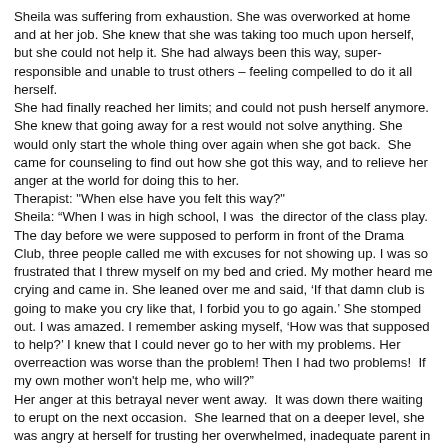Sheila was suffering from exhaustion. She was overworked at home and at her job. She knew that she was taking too much upon herself, but she could not help it. She had always been this way, super-responsible and unable to trust others – feeling compelled to do it all herself.
She had finally reached her limits; and could not push herself anymore. She knew that going away for a rest would not solve anything. She would only start the whole thing over again when she got back.  She came for counseling to find out how she got this way, and to relieve her anger at the world for doing this to her.
Therapist: "When else have you felt this way?"
Sheila: “When I was in high school, I was  the director of the class play. The day before we were supposed to perform in front of the Drama Club, three people called me with excuses for not showing up. I was so frustrated that I threw myself on my bed and cried. My mother heard me crying and came in. She leaned over me and said, ‘If that damn club is going to make you cry like that, I forbid you to go again.’ She stomped out. I was amazed. I remember asking myself, ‘How was that supposed to help?’ I knew that I could never go to her with my problems. Her overreaction was worse than the problem! Then I had two problems!  If my own mother won't help me, who will?"
Her anger at this betrayal never went away.  It was down there waiting to erupt on the next occasion.  She learned that on a deeper level, she was angry at herself for trusting her overwhelmed, inadequate parent in the first place!  This anger didn't make sense to her.  This is where we point out that anger doesn't have to make